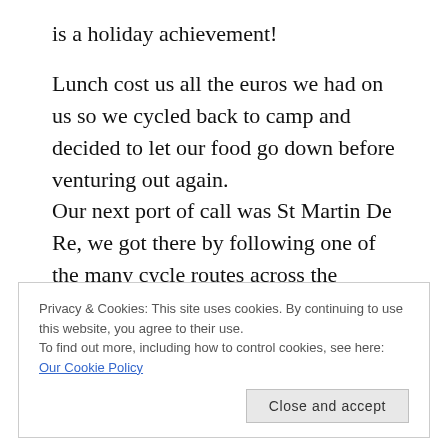is a holiday achievement!
Lunch cost us all the euros we had on us so we cycled back to camp and decided to let our food go down before venturing out again. Our next port of call was St Martin De Re, we got there by following one of the many cycle routes across the island, they love cycling here so much so that in th towns each house has a steel ring concreted into the wall for you to chain your bike too.
Privacy & Cookies: This site uses cookies. By continuing to use this website, you agree to their use.
To find out more, including how to control cookies, see here: Our Cookie Policy